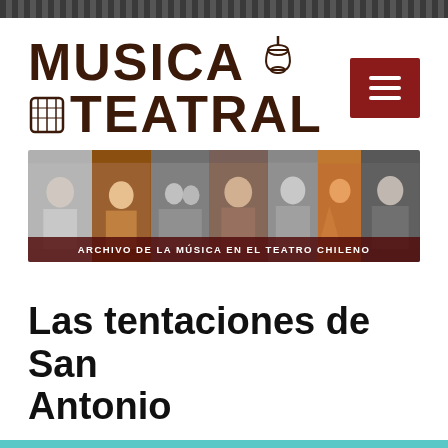[Figure (logo): Musica Teatral logo with stylized bold text and accordion/lamp icon, plus red hamburger menu button]
[Figure (photo): Banner strip of multiple black and white and color photos of performers/musicians with overlay text: ARCHIVO DE LA MÚSICA EN EL TEATRO CHILENO]
Las tentaciones de San Antonio